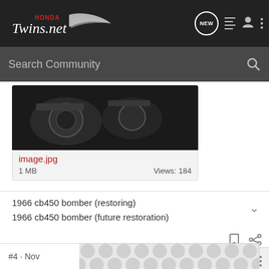HondaTwins.net — Search Community
[Figure (screenshot): Cropped motorcycle engine image thumbnail for attachment image.jpg]
image.jpg
1 MB   Views: 184
1966 cb450 bomber (restoring)
1966 cb450 bomber (future restoration)
JamesPal · Registered 🇺🇸
Joined Sep 20, 2009 · 3,538 Posts
#4 · Nov
[Figure (photo): Partially visible image with dotted/circular grey and white pattern at bottom of page]